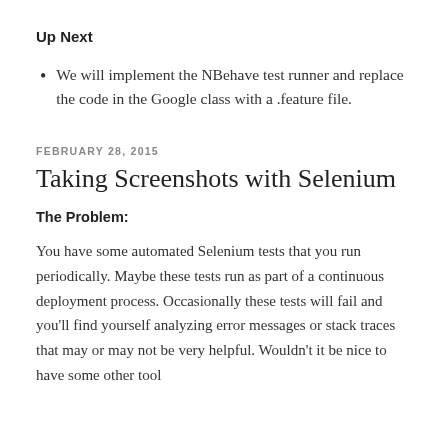Up Next
We will implement the NBehave test runner and replace the code in the Google class with a .feature file.
FEBRUARY 28, 2015
Taking Screenshots with Selenium
The Problem:
You have some automated Selenium tests that you run periodically. Maybe these tests run as part of a continuous deployment process. Occasionally these tests will fail and you'll find yourself analyzing error messages or stack traces that may or may not be very helpful. Wouldn't it be nice to have some other tool